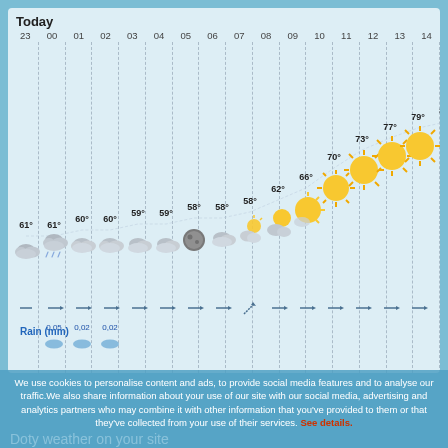Today
[Figure (infographic): Hourly weather forecast chart for today showing hours 23 through 14, with temperature readings, weather condition icons (cloudy, rain, moon, sun), wind arrows, and rain amounts in mm.]
Rain (mm)
We use cookies to personalise content and ads, to provide social media features and to analyse our traffic.We also share information about your use of our site with our social media, advertising and analytics partners who may combine it with other information that you've provided to them or that they've collected from your use of their services. See details.
Doty weather on your site
The Aux.tv weather on your site. Simply visit our configurator